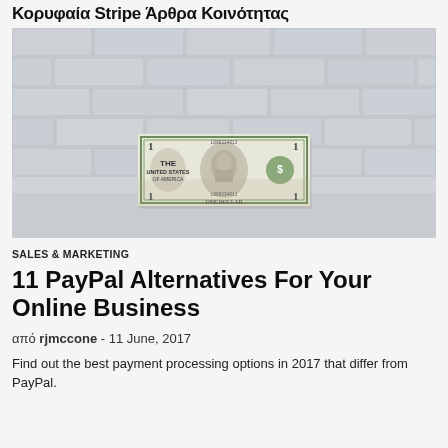Κορυφαία Stripe Άρθρα Κοινότητας
[Figure (photo): A US one dollar bill standing upright on a reflective surface against a white brick wall background]
SALES & MARKETING
11 PayPal Alternatives For Your Online Business
από rjmccone - 11 June, 2017
Find out the best payment processing options in 2017 that differ from PayPal.